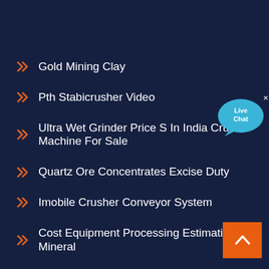Gold Mining Clay
Pth Stabicrusher Video
Ultra Wet Grinder Price S In India Crusher Machine For Sale
Quartz Ore Concentrates Excise Duty
Imobile Crusher Conveyor System
Cost Equipment Processing Estimation Mineral
Jaw Crusher In Botswana
Natural Stone Corundum
[Figure (illustration): Live Chat speech bubble icon with blue color]
[Figure (illustration): Back to top orange button with upward chevron arrow]